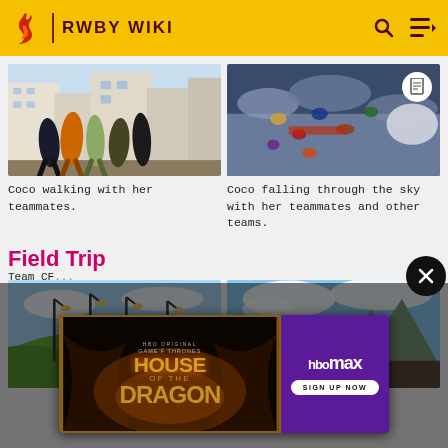RWBY WIKI
[Figure (screenshot): Coco walking with her teammates - anime characters walking on a street]
[Figure (screenshot): Coco falling through the sky with her teammates and other teams]
Coco walking with her teammates.
Coco falling through the sky with her teammates and other teams.
Field Trip
[Figure (screenshot): Team CFVY scene - outdoor area with lamp posts]
[Figure (screenshot): Characters looking at a scene with mountains in background]
Team CF...
[Figure (screenshot): Advertisement overlay: HBO Max - House of the Dragon - Sign Up Now]